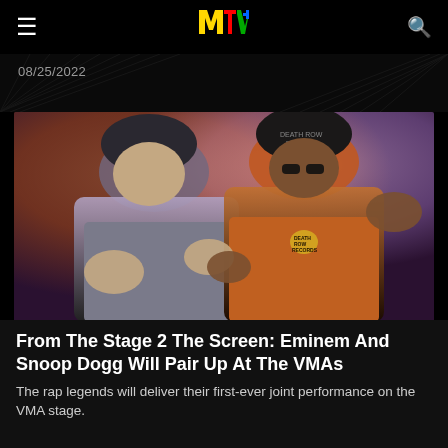MTV
08/25/2022
[Figure (photo): Eminem and Snoop Dogg posing together, both making hand gestures. Eminem on the left wearing a grey hoodie and dark beanie, Snoop Dogg on the right wearing an orange jacket, black Death Row Records beanie, and large gold chain with Death Row Records pendant.]
From The Stage 2 The Screen: Eminem And Snoop Dogg Will Pair Up At The VMAs
The rap legends will deliver their first-ever joint performance on the VMA stage.